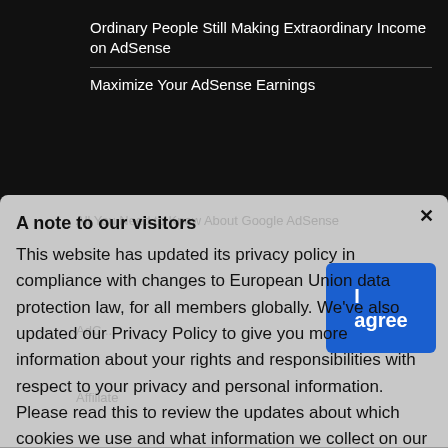Ordinary People Still Making Extraordinary Income on AdSense
Maximize Your AdSense Earnings
A note to our visitors
This website has updated its privacy policy in compliance with changes to European Union data protection law, for all members globally. We've also updated our Privacy Policy to give you more information about your rights and responsibilities with respect to your privacy and personal information. Please read this to review the updates about which cookies we use and what information we collect on our site. By continuing to use this site, you are agreeing to our updated privacy policy.